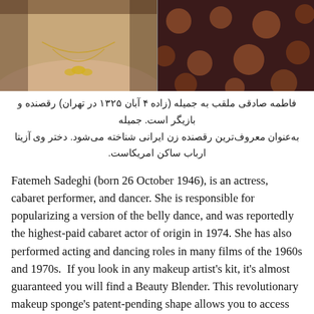[Figure (photo): Two side-by-side photos. Left: a woman wearing a gold butterfly necklace against a light background. Right: a dark background with polka dot pattern.]
فاطمه صادقی ملقب به جمیله (زاده ۴ آبان ۱۳۲۵ در تهران) رقصنده و بازیگر است. جمیله به‌عنوان معروف‌ترین رقصنده زن ایرانی شناخته می‌شود. دختر وی آزیتا ارباب ساکن امریکاست.
Fatemeh Sadeghi (born 26 October 1946), is an actress, cabaret performer, and dancer. She is responsible for popularizing a version of the belly dance, and was reportedly the highest-paid cabaret actor of origin in 1974. She has also performed acting and dancing roles in many films of the 1960s and 1970s.  If you look in any makeup artist's kit, it's almost guaranteed you will find a Beauty Blender. This revolutionary makeup sponge's patent-pending shape allows you to access every contour of your face. It is meant to be used damp, allowing for a flawless application and ensuring that makeup never looks heavy. It also comes in a variety of colors and even mini sizes